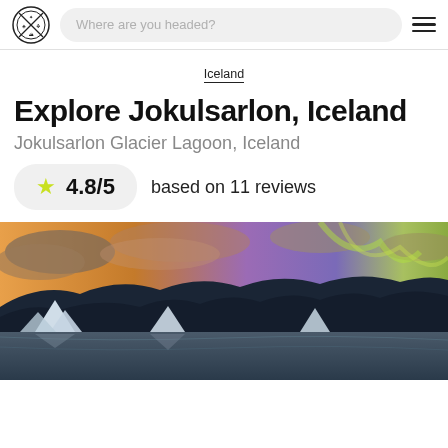Where are you headed?
Iceland
Explore Jokulsarlon, Iceland
Jokulsarlon Glacier Lagoon, Iceland
4.8/5 based on 11 reviews
[Figure (photo): Panoramic photo of Jokulsarlon Glacier Lagoon, Iceland at sunset with icebergs, dark mountains, and colorful sky with purple and orange hues reflecting on water]